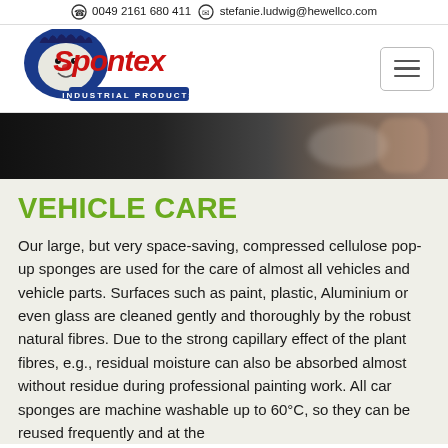0049 2161 680 411  stefanie.ludwig@hewellco.com
[Figure (logo): Spontex Industrial Products logo with hedgehog mascot in blue and red]
[Figure (photo): Dark background hero band showing car washing scene]
VEHICLE CARE
Our large, but very space-saving, compressed cellulose pop-up sponges are used for the care of almost all vehicles and vehicle parts. Surfaces such as paint, plastic, Aluminium or even glass are cleaned gently and thoroughly by the robust natural fibres. Due to the strong capillary effect of the plant fibres, e.g., residual moisture can also be absorbed almost without residue during professional painting work. All car sponges are machine washable up to 60°C, so they can be reused frequently and at the